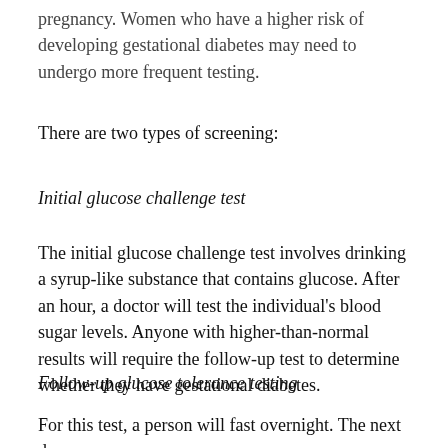gestational diabetes between 24 and 28 weeks into the pregnancy. Women who have a higher risk of developing gestational diabetes may need to undergo more frequent testing.
There are two types of screening:
Initial glucose challenge test
The initial glucose challenge test involves drinking a syrup-like substance that contains glucose. After an hour, a doctor will test the individual's blood sugar levels. Anyone with higher-than-normal results will require the follow-up test to determine whether they have gestational diabetes.
Follow-up glucose tolerance testing
For this test, a person will fast overnight. The next day, they will drink a more concentrated glucose solution and blood